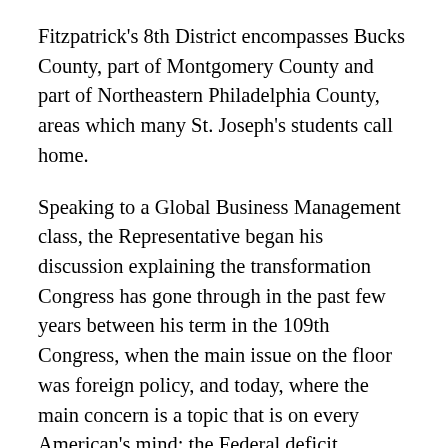Fitzpatrick's 8th District encompasses Bucks County, part of Montgomery County and part of Northeastern Philadelphia County, areas which many St. Joseph's students call home.
Speaking to a Global Business Management class, the Representative began his discussion explaining the transformation Congress has gone through in the past few years between his term in the 109th Congress, when the main issue on the floor was foreign policy, and today, where the main concern is a topic that is on every American's mind: the Federal deficit.
Fitzpatrick's discussion hit home for students, a generation who will be not only shouldering